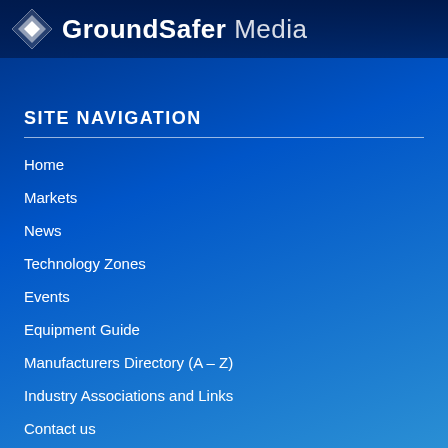[Figure (logo): GroundSafer Media logo with diamond/shield icon on dark blue header bar]
SITE NAVIGATION
Home
Markets
News
Technology Zones
Events
Equipment Guide
Manufacturers Directory (A – Z)
Industry Associations and Links
Contact us